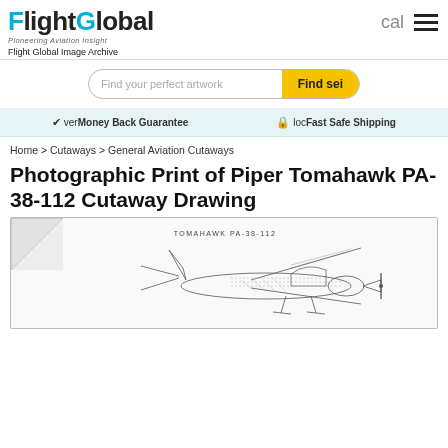FlightGlobal — Pioneering Aviation Insight — Flight Global Image Archive
Find your perfect artwork — Find sea
ver Money Back Guarantee   loc Fast Safe Shipping
Home > Cutaways > General Aviation Cutaways
Photographic Print of Piper Tomahawk PA-38-112 Cutaway Drawing
[Figure (engineering-diagram): Cutaway drawing of Piper Tomahawk PA-38-112 aircraft showing internal structure, with page curl in top-left corner and label 'TOMAHAWK PA-38-112' at the top of the drawing.]